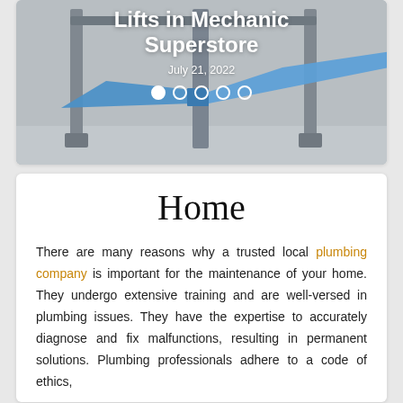[Figure (photo): Photo of a vehicle lift in a mechanic superstore, showing grey metal lift structure with blue platform arms, on a light grey background. Overlaid with title text 'Lifts in Mechanic Superstore', date 'July 21, 2022', and carousel navigation dots.]
Home
There are many reasons why a trusted local plumbing company is important for the maintenance of your home. They undergo extensive training and are well-versed in plumbing issues. They have the expertise to accurately diagnose and fix malfunctions, resulting in permanent solutions. Plumbing professionals adhere to a code of ethics,